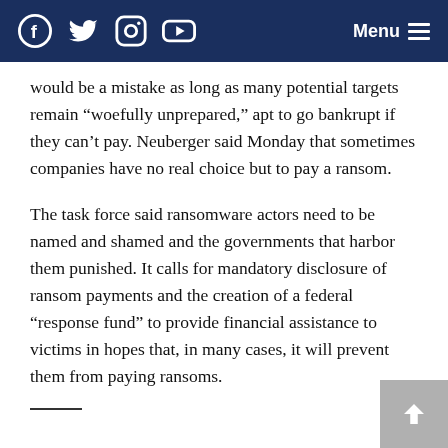Social media icons (Facebook, Twitter, Instagram, YouTube) and Menu
would be a mistake as long as many potential targets remain “woefully unprepared,” apt to go bankrupt if they can’t pay. Neuberger said Monday that sometimes companies have no real choice but to pay a ransom.
The task force said ransomware actors need to be named and shamed and the governments that harbor them punished. It calls for mandatory disclosure of ransom payments and the creation of a federal “response fund” to provide financial assistance to victims in hopes that, in many cases, it will prevent them from paying ransoms.